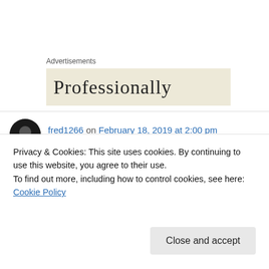Advertisements
[Figure (screenshot): Advertisement banner with text starting 'Professionally']
fred1266 on February 18, 2019 at 2:00 pm
[Figure (screenshot): Embedded tweet from Arsenal @Arsenal with Follow button, Twitter bird icon, and text 'In progress: Hec's recovery' with green icon]
Privacy & Cookies: This site uses cookies. By continuing to use this website, you agree to their use.
To find out more, including how to control cookies, see here: Cookie Policy